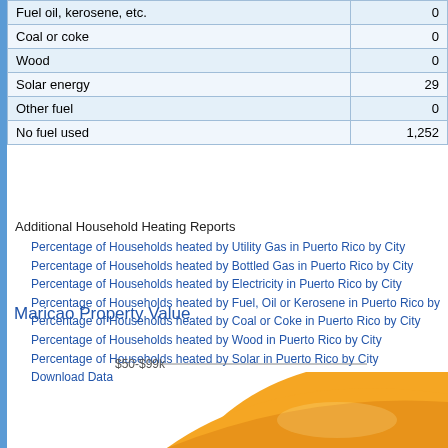|  |  |
| --- | --- |
| Fuel oil, kerosene, etc. | 0 |
| Coal or coke | 0 |
| Wood | 0 |
| Solar energy | 29 |
| Other fuel | 0 |
| No fuel used | 1,252 |
Additional Household Heating Reports
Percentage of Households heated by Utility Gas in Puerto Rico by City
Percentage of Households heated by Bottled Gas in Puerto Rico by City
Percentage of Households heated by Electricity in Puerto Rico by City
Percentage of Households heated by Fuel, Oil or Kerosene in Puerto Rico by
Percentage of Households heated by Coal or Coke in Puerto Rico by City
Percentage of Households heated by Wood in Puerto Rico by City
Percentage of Households heated by Solar in Puerto Rico by City
Download Data
Maricao Property Value
[Figure (pie-chart): Partial pie chart showing Maricao Property Value. Visible slice labeled $50-$99k, large orange/gold slice visible, chart is cut off at bottom of page.]